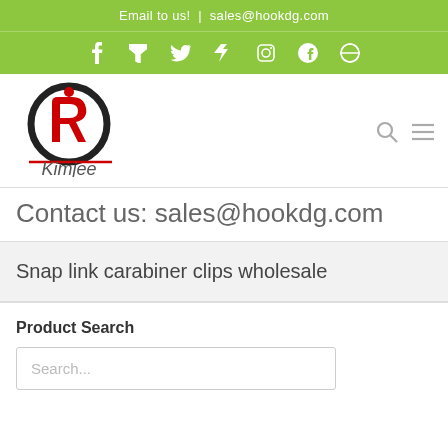Email to us!  |  sales@hookdg.com
[Figure (logo): Social media icons bar: f (Facebook), RSS, Twitter, Vimeo, Instagram, Pinterest, Dribbble]
[Figure (logo): Kimjee company logo with red and black stylized K/R letter mark and 'Kimjee' text below]
Contact us: sales@hookdg.com
Snap link carabiner clips wholesale
Product Search
Search...